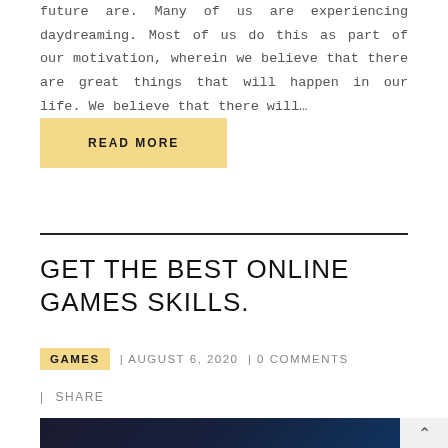future are. Many of us are experiencing daydreaming. Most of us do this as part of our motivation, wherein we believe that there are great things that will happen in our life. We believe that there will…
READ MORE
GET THE BEST ONLINE GAMES SKILLS.
GAMES | AUGUST 6, 2020 | 0 COMMENTS
| SHARE
[Figure (photo): Dark gaming scene with a character wearing a white hat, partially visible at the bottom of the page]